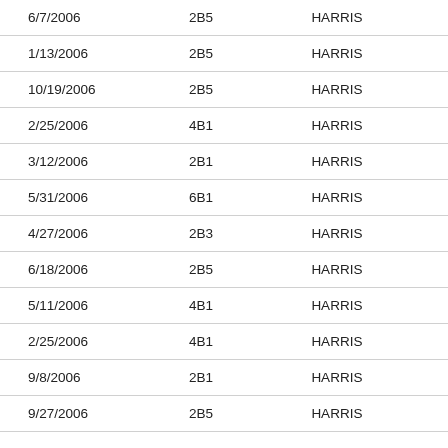| 6/7/2006 | 2B5 | HARRIS |  |
| 1/13/2006 | 2B5 | HARRIS |  |
| 10/19/2006 | 2B5 | HARRIS |  |
| 2/25/2006 | 4B1 | HARRIS |  |
| 3/12/2006 | 2B1 | HARRIS |  |
| 5/31/2006 | 6B1 | HARRIS |  |
| 4/27/2006 | 2B3 | HARRIS |  |
| 6/18/2006 | 2B5 | HARRIS |  |
| 5/11/2006 | 4B1 | HARRIS |  |
| 2/25/2006 | 4B1 | HARRIS |  |
| 9/8/2006 | 2B1 | HARRIS |  |
| 9/27/2006 | 2B5 | HARRIS |  |